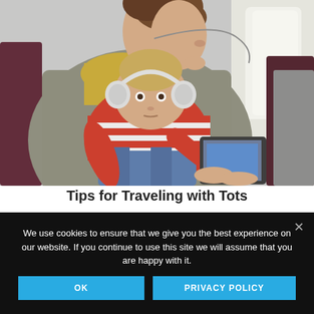[Figure (photo): A woman sitting in an airplane seat holding a toddler on her lap. The toddler is wearing headphones and a red striped shirt with denim overalls, looking at a tablet. The woman is wearing a gray coat and yellow hoodie.]
Tips for Traveling with Tots
We use cookies to ensure that we give you the best experience on our website. If you continue to use this site we will assume that you are happy with it.
OK   PRIVACY POLICY